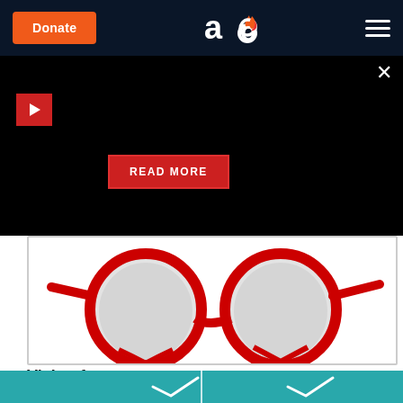Donate | AO logo | Hamburger menu
[Figure (screenshot): Black overlay panel with red play button, READ MORE button, and close X button]
[Figure (photo): Red heart-shaped glasses on a white background, showing two circular lenses with red frames]
Vision for Marriage
[Figure (screenshot): Teal colored banner strip at bottom of page]